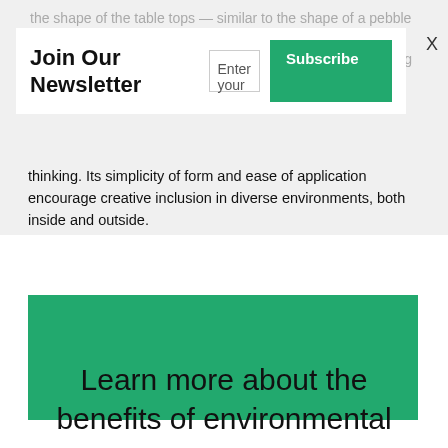the shape of the table tops — similar to the shape of a pebble polished by the water — and in the particularity of the structure of chairs and tables, with a regular design reminding of the branches of a tree or a leaf veins. Leaf is a manifesto: an image simultaneously nostalgic and forward thinking. Its simplicity of form and ease of application encourage creative inclusion in diverse environments, both inside and outside.
Join Our Newsletter  [Enter your]  [Subscribe]  X
[Figure (photo): Solid green rectangle image placeholder]
Learn more about the benefits of environmental